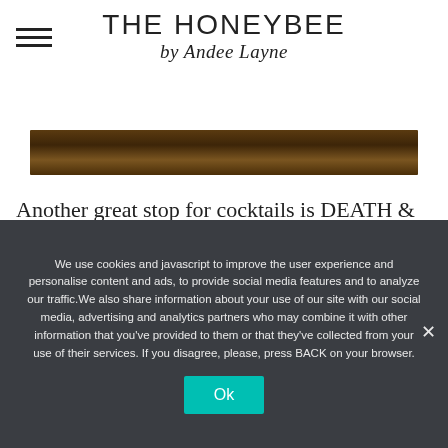THE HONEYBEE by Andee Layne
[Figure (photo): Dark amber/brown colored bar or interior photo strip]
Another great stop for cocktails is DEATH & CO. (can you tell I love a good cocktail?!)
We use cookies and javascript to improve the user experience and personalise content and ads, to provide social media features and to analyze our traffic.We also share information about your use of our site with our social media, advertising and analytics partners who may combine it with other information that you've provided to them or that they've collected from your use of their services. If you disagree, please, press BACK on your browser.
Ok